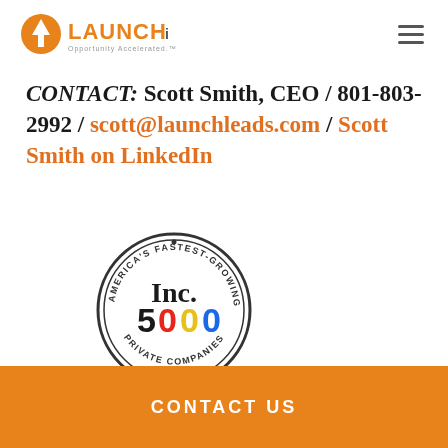[Figure (logo): Launch Leads logo with arrow icon and tagline 'Opportunity Accelerated.']
CONTACT: Scott Smith, CEO / 801-803-2992 / scott@launchleads.com / Scott Smith on LinkedIn
[Figure (logo): Inc. 5000 America's Fastest-Growing Private Companies circular badge]
CONTACT US